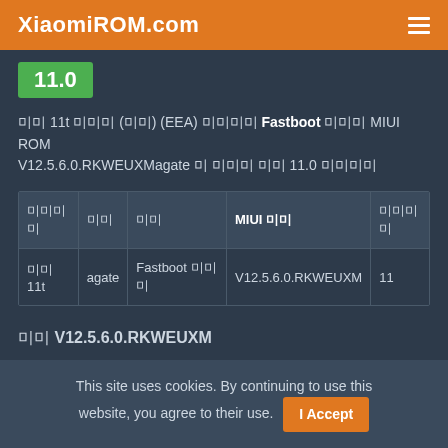XiaomiROM.com
11.0
미 11t 미미미 (미미) (EEA) 미미미미 Fastboot 미미미 MIUI ROM V12.5.6.0.RKWEUXMagate 미 미미미 미미 11.0 미미미미
| 미미미미 | 미미 | 미미 | MIUI 미미 | 미미미미 |
| --- | --- | --- | --- | --- |
| 미미 11t | agate | Fastboot 미미미 | V12.5.6.0.RKWEUXM | 11 |
미미 V12.5.6.0.RKWEUXM
This site uses cookies. By continuing to use this website, you agree to their use. I Accept